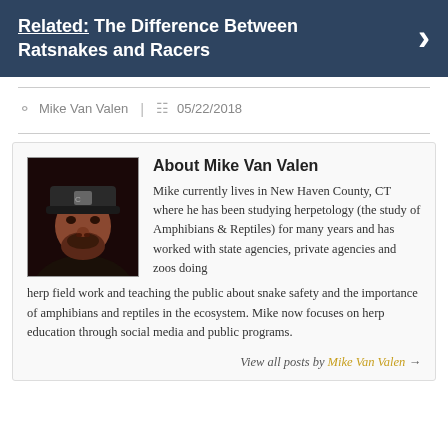Related: The Difference Between Ratsnakes and Racers
Mike Van Valen  |  05/22/2018
[Figure (photo): Headshot photo of Mike Van Valen wearing a dark cap]
About Mike Van Valen
Mike currently lives in New Haven County, CT where he has been studying herpetology (the study of Amphibians & Reptiles) for many years and has worked with state agencies, private agencies and zoos doing herp field work and teaching the public about snake safety and the importance of amphibians and reptiles in the ecosystem. Mike now focuses on herp education through social media and public programs.
View all posts by Mike Van Valen →